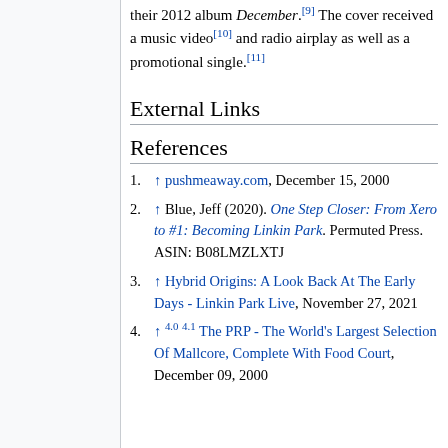their 2012 album December.[9] The cover received a music video[10] and radio airplay as well as a promotional single.[11]
External Links
References
1. ↑ pushmeaway.com, December 15, 2000
2. ↑ Blue, Jeff (2020). One Step Closer: From Xero to #1: Becoming Linkin Park. Permuted Press. ASIN: B08LMZLXTJ
3. ↑ Hybrid Origins: A Look Back At The Early Days - Linkin Park Live, November 27, 2021
4. ↑ 4.0 4.1 The PRP - The World's Largest Selection Of Mallcore, Complete With Food Court, December 09, 2000